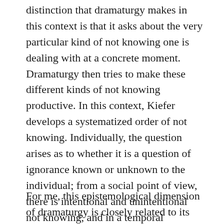distinction that dramaturgy makes in this context is that it asks about the very particular kind of not knowing one is dealing with at a concrete moment. Dramaturgy then tries to make these different kinds of not knowing productive. In this context, Kiefer develops a systematized order of not knowing. Individually, the question arises as to whether it is a question of ignorance known or unknown to the individual; from a social point of view, there is intentional and unintentional not knowing, and in a temporal dimension there is a not yet knowing and a not being able to know at all. The productivity of dramaturgy lies in the clear formulation of not knowing and the transfer of knowledge into doubt.
For me, this epistemological dimension of dramaturgy is closely related to its political